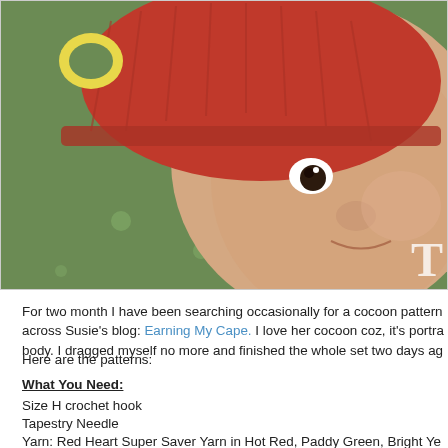[Figure (photo): Close-up photo of a newborn baby wearing a red crocheted hat with yellow accents, lying on a green blanket. The letter T is partially visible in the bottom right corner.]
For two month I have been searching occasionally for a cocoon pattern across Susie's blog: Earning My Cape. I love her cocoon coz, it's portrays body. I dragged myself no more and finished the whole set two days ag
Here are the patterns:
What You Need:
Size H crochet hook
Tapestry Needle
Yarn: Red Heart Super Saver Yarn in Hot Red, Paddy Green, Bright Ye